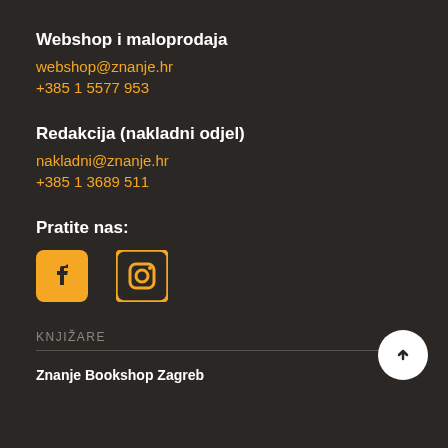Webshop i maloprodaja
webshop@znanje.hr
+385 1 5577 953
Redakcija (nakladni odjel)
nakladni@znanje.hr
+385 1 3689 511
Pratite nas:
[Figure (logo): Facebook and Instagram social media icons in orange/yellow color]
KNJIŽARE
Znanje Bookshop Zagreb